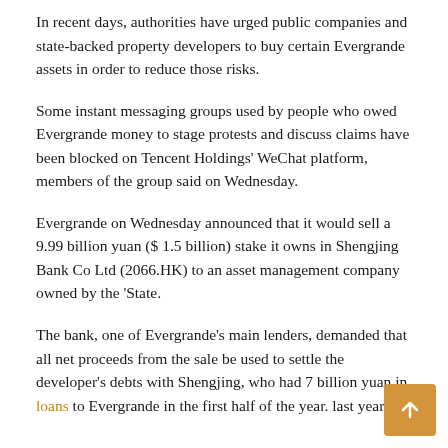In recent days, authorities have urged public companies and state-backed property developers to buy certain Evergrande assets in order to reduce those risks.
Some instant messaging groups used by people who owed Evergrande money to stage protests and discuss claims have been blocked on Tencent Holdings' WeChat platform, members of the group said on Wednesday.
Evergrande on Wednesday announced that it would sell a 9.99 billion yuan ($ 1.5 billion) stake it owns in Shengjing Bank Co Ltd (2066.HK) to an asset management company owned by the 'State.
The bank, one of Evergrande's main lenders, demanded that all net proceeds from the sale be used to settle the developer's debts with Shengjing, who had 7 billion yuan in loans to Evergrande in the first half of the year. last year.